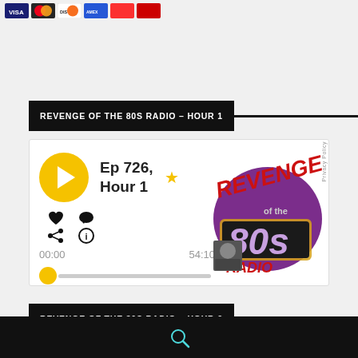[Figure (logo): Row of payment card logos: Visa, Mastercard, Discover, American Express, and others]
REVENGE OF THE 80S RADIO – HOUR 1
[Figure (screenshot): Podcast player widget for 'Ep 726, Hour 1' with play button, heart/comment/share/info icons, time display 00:00 / 54:10, progress bar, and Revenge of the 80s Radio logo]
REVENGE OF THE 80S RADIO – HOUR 2